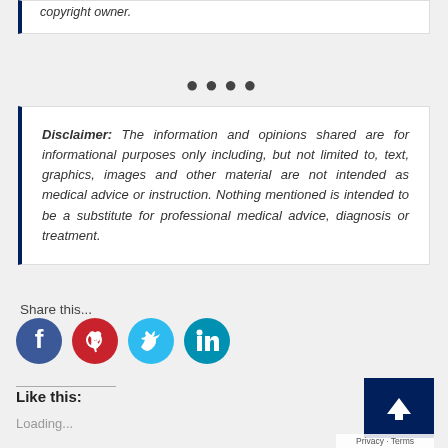copyright owner.
....
Disclaimer: The information and opinions shared are for informational purposes only including, but not limited to, text, graphics, images and other material are not intended as medical advice or instruction. Nothing mentioned is intended to be a substitute for professional medical advice, diagnosis or treatment.
Share this...
[Figure (illustration): Social media sharing icons: Facebook (blue), Pinterest (red), Twitter (light blue), LinkedIn (teal)]
Like this:
Loading...